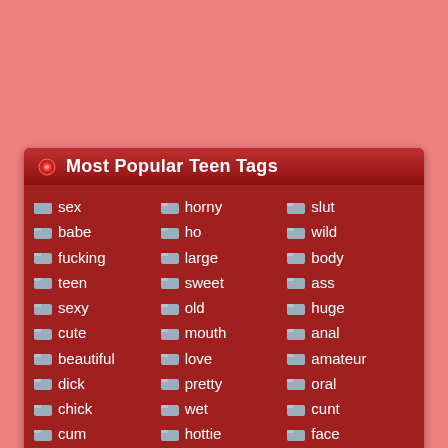Most Popular Teen Tags
sex
babe
fucking
teen
sexy
cute
beautiful
dick
chick
cum
horny
ho
large
sweet
old
mouth
love
pretty
wet
hottie
slut
wild
body
ass
huge
anal
amateur
oral
cunt
face